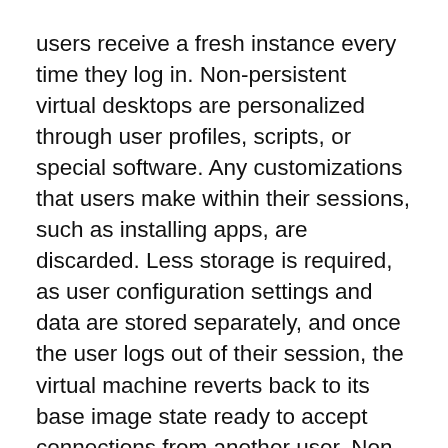users receive a fresh instance every time they log in. Non-persistent virtual desktops are personalized through user profiles, scripts, or special software. Any customizations that users make within their sessions, such as installing apps, are discarded. Less storage is required, as user configuration settings and data are stored separately, and once the user logs out of their session, the virtual machine reverts back to its base image state ready to accept connections from another user. Non-persistent desktops are easier for administrators to manage because the underlying image remains consistent. For this reason, non-persistent desktops are often more popular than persistent desktops.
In VDI, the creation of multiple virtual machines from a single physical machine is handled by software called a hypervisor or a virtual machine manager.